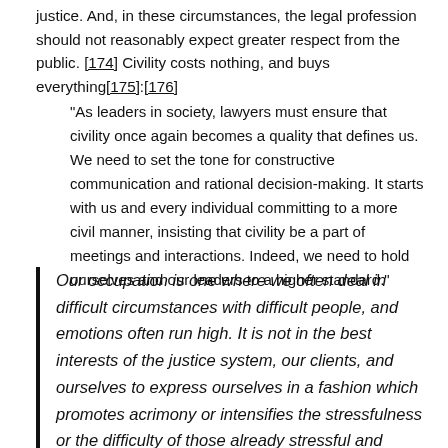justice. And, in these circumstances, the legal profession should not reasonably expect greater respect from the public. [174] Civility costs nothing, and buys everything[175]:[176]
“As leaders in society, lawyers must ensure that civility once again becomes a quality that defines us. We need to set the tone for constructive communication and rational decision-making. It starts with us and every individual committing to a more civil manner, insisting that civility be a part of meetings and interactions. Indeed, we need to hold ourselves and our leaders to a higher standard.”
Our occupation is one where we often deal in difficult circumstances with difficult people, and emotions often run high. It is not in the best interests of the justice system, our clients, and ourselves to express ourselves in a fashion which promotes acrimony or intensifies the stressfulness or the difficulty of those already stressful and difficult circumstances.